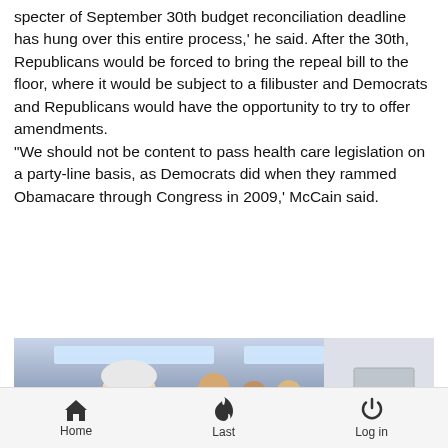specter of September 30th budget reconciliation deadline has hung over this entire process,' he said. After the 30th, Republicans would be forced to bring the repeal bill to the floor, where it would be subject to a filibuster and Democrats and Republicans would have the opportunity to try to offer amendments. "We should not be content to pass health care legislation on a party-line basis, as Democrats did when they rammed Obamacare through Congress in 2009,' McCain said.
[Figure (photo): Photo of an elderly white-haired man (likely Senator McCain) speaking to a crowd of reporters holding microphones and cameras in a hallway or lobby area with metal turnstiles, fluorescent lighting, and a circular scroll-up button overlay in the bottom right]
Home   Last   Log in